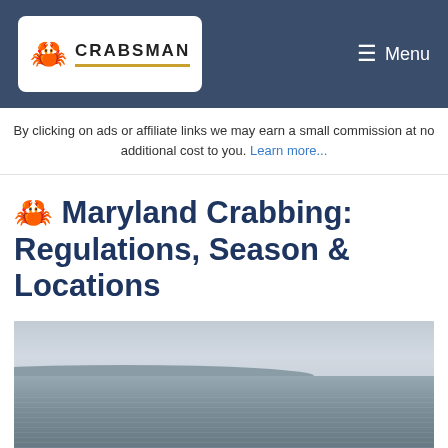CRABSMAN | Menu
By clicking on ads or affiliate links we may earn a small commission at no additional cost to you. Learn more...
🦀 Maryland Crabbing: Regulations, Season & Locations
[Figure (photo): Wide flat bay or tidal flat landscape with overcast sky, distant low hills on the horizon, and shallow water or wet sand in the foreground.]